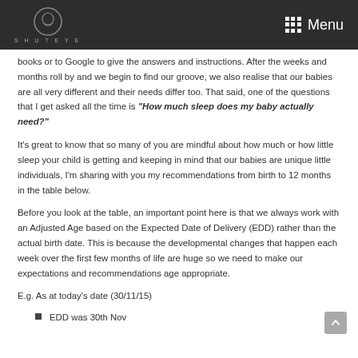SHUTEYE — Menu
books or to Google to give the answers and instructions. After the weeks and months roll by and we begin to find our groove, we also realise that our babies are all very different and their needs differ too. That said, one of the questions that I get asked all the time is "How much sleep does my baby actually need?"
It's great to know that so many of you are mindful about how much or how little sleep your child is getting and keeping in mind that our babies are unique little individuals, I'm sharing with you my recommendations from birth to 12 months in the table below.
Before you look at the table, an important point here is that we always work with an Adjusted Age based on the Expected Date of Delivery (EDD) rather than the actual birth date. This is because the developmental changes that happen each week over the first few months of life are huge so we need to make our expectations and recommendations age appropriate.
E.g. As at today's date (30/11/15)
EDD was 30th Nov